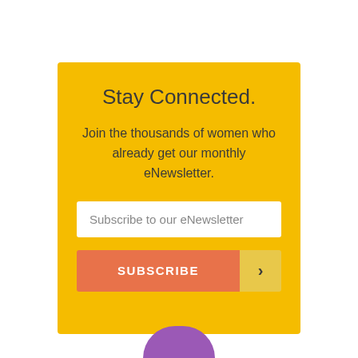Stay Connected.
Join the thousands of women who already get our monthly eNewsletter.
Subscribe to our eNewsletter
SUBSCRIBE